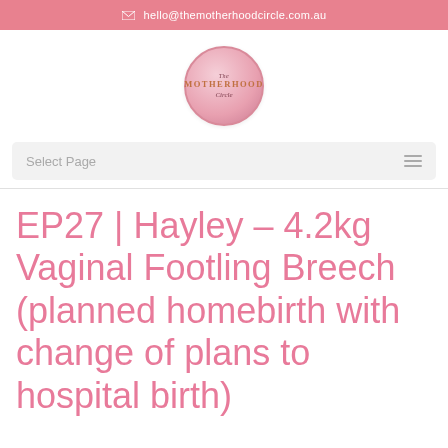hello@themotherhoodcircle.com.au
[Figure (logo): The Motherhood Circle circular logo with pink gradient background and gold/brown text]
Select Page
EP27 | Hayley – 4.2kg Vaginal Footling Breech (planned homebirth with change of plans to hospital birth)